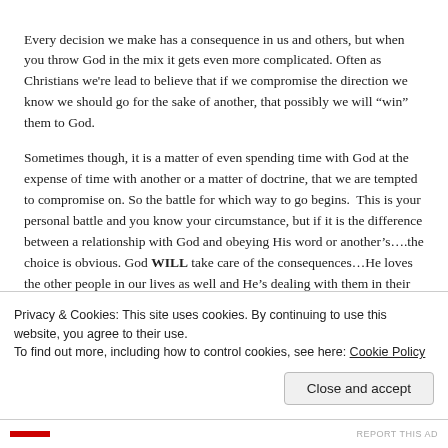Every decision we make has a consequence in us and others, but when you throw God in the mix it gets even more complicated. Often as Christians we're lead to believe that if we compromise the direction we know we should go for the sake of another, that possibly we will “win” them to God.
Sometimes though, it is a matter of even spending time with God at the expense of time with another or a matter of doctrine, that we are tempted to compromise on. So the battle for which way to go begins.  This is your personal battle and you know your circumstance, but if it is the difference between a relationship with God and obeying His word or another’s….the choice is obvious. God WILL take care of the consequences…He loves the other people in our lives as well and He’s dealing with them in their own individual way. Be true to the calling God
Privacy & Cookies: This site uses cookies. By continuing to use this website, you agree to their use.
To find out more, including how to control cookies, see here: Cookie Policy
Close and accept